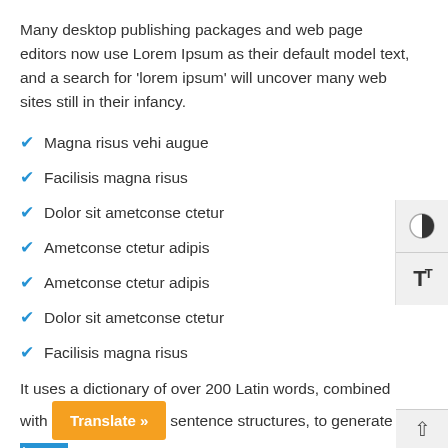Many desktop publishing packages and web page editors now use Lorem Ipsum as their default model text, and a search for 'lorem ipsum' will uncover many web sites still in their infancy.
Magna risus vehi augue
Facilisis magna risus
Dolor sit ametconse ctetur
Ametconse ctetur adipis
Ametconse ctetur adipis
Dolor sit ametconse ctetur
Facilisis magna risus
It uses a dictionary of over 200 Latin words, combined with a sentence structures, to generate Lorem